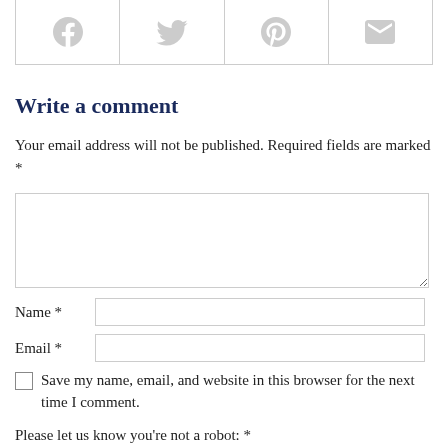[Figure (other): Social sharing bar with four icons: Facebook, Twitter, Pinterest, Email (envelope)]
Write a comment
Your email address will not be published. Required fields are marked *
[Figure (other): Comment text area (empty textarea input)]
Name *
Email *
Save my name, email, and website in this browser for the next time I comment.
Please let us know you're not a robot: *
seven − [input] − four 🔒